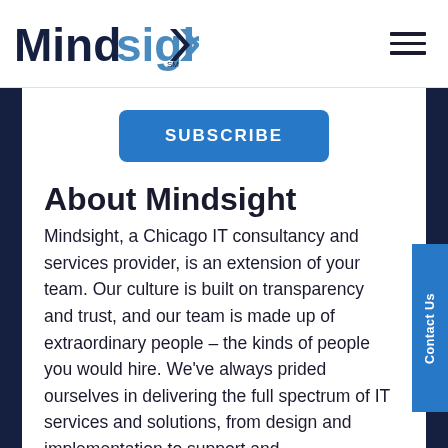Mindsight
SUBSCRIBE
About Mindsight
Mindsight, a Chicago IT consultancy and services provider, is an extension of your team. Our culture is built on transparency and trust, and our team is made up of extraordinary people – the kinds of people you would hire. We've always prided ourselves in delivering the full spectrum of IT services and solutions, from design and implementation to support and